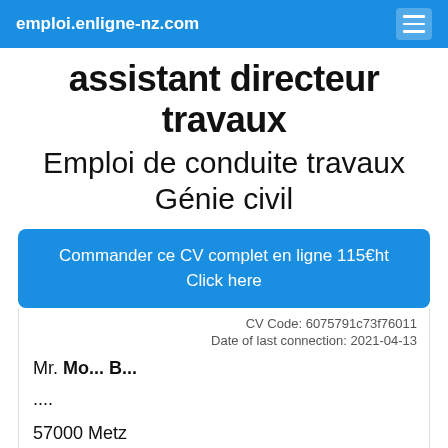emploi.enligne-nz.com
assistant directeur travaux
Emploi de conduite travaux Génie civil
Commander ce CV complet en ligne 115€ht
Click here
CV Code: 6075791c73f76011
Date of last connection: 2021-04-13
Mr. Mo... B...
....
57000 Metz
France